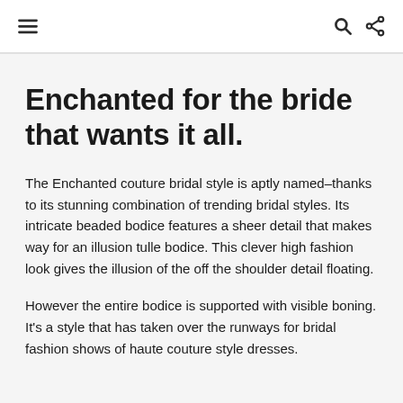☰ 🔍 ⋮
Enchanted for the bride that wants it all.
The Enchanted couture bridal style is aptly named–thanks to its stunning combination of trending bridal styles. Its intricate beaded bodice features a sheer detail that makes way for an illusion tulle bodice. This clever high fashion look gives the illusion of the off the shoulder detail floating.
However the entire bodice is supported with visible boning. It's a style that has taken over the runways for bridal fashion shows of haute couture style dresses.